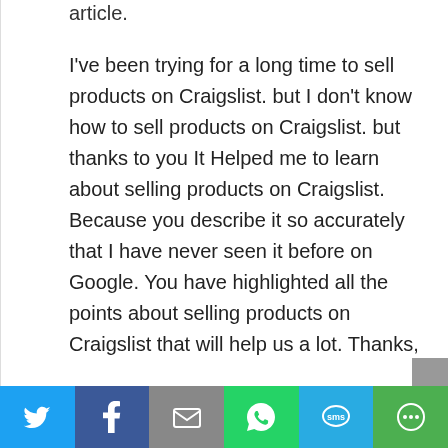article.
I've been trying for a long time to sell products on Craigslist. but I don't know how to sell products on Craigslist. but thanks to you It Helped me to learn about selling products on Craigslist. Because you describe it so accurately that I have never seen it before on Google. You have highlighted all the points about selling products on Craigslist that will help us a lot. Thanks,
[Figure (other): Social share bar with icons for Twitter, Facebook, Email, WhatsApp, SMS, and More]